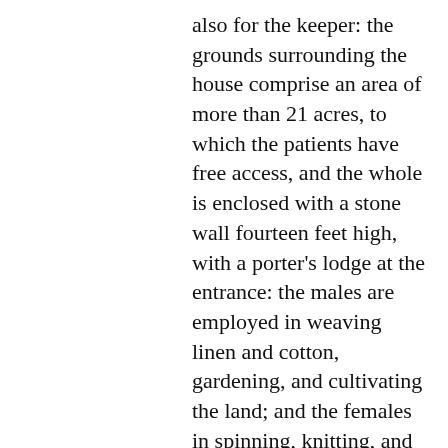also for the keeper: the grounds surrounding the house comprise an area of more than 21 acres, to which the patients have free access, and the whole is enclosed with a stone wall fourteen feet high, with a porter's lodge at the entrance: the males are employed in weaving linen and cotton, gardening, and cultivating the land; and the females in spinning, knitting, and domestic occupations. The management of the asylum is vested in a committee appointed by the general board in Dublin; the medical department is superintended by a physician, governor, and matron, assisted by 26 keepers and others: the annual expenditure, about £2000, is advanced by Government, but